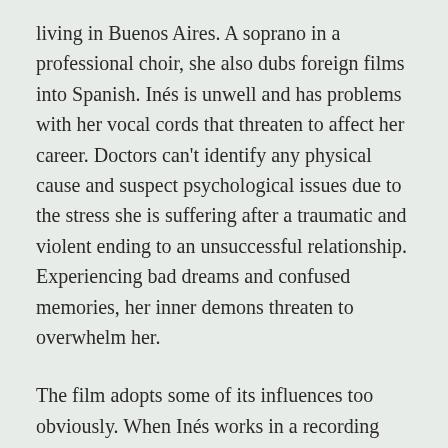living in Buenos Aires. A soprano in a professional choir, she also dubs foreign films into Spanish. Inés is unwell and has problems with her vocal cords that threaten to affect her career. Doctors can't identify any physical cause and suspect psychological issues due to the stress she is suffering after a traumatic and violent ending to an unsuccessful relationship. Experiencing bad dreams and confused memories, her inner demons threaten to overwhelm her.
The film adopts some of its influences too obviously. When Inés works in a recording studio adding breathy vocals and screams to some kind of Japanese bondage flick we can't